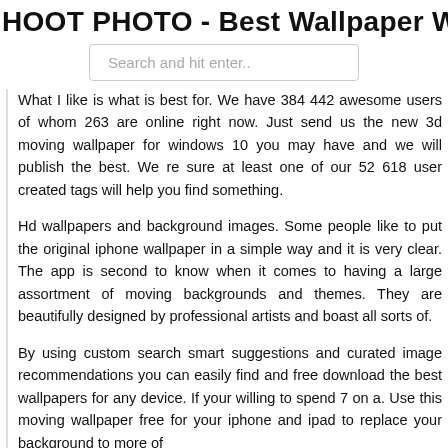HOOT PHOTO - Best Wallpaper Web
[Figure (other): Search bar input with placeholder text 'Search and hit enter..']
What I like is what is best for. We have 384 442 awesome users of whom 263 are online right now. Just send us the new 3d moving wallpaper for windows 10 you may have and we will publish the best. We re sure at least one of our 52 618 user created tags will help you find something.
Hd wallpapers and background images. Some people like to put the original iphone wallpaper in a simple way and it is very clear. The app is second to know when it comes to having a large assortment of moving backgrounds and themes. They are beautifully designed by professional artists and boast all sorts of.
By using custom search smart suggestions and curated image recommendations you can easily find and free download the best wallpapers for any device. If your willing to spend 7 on a. Use this moving wallpaper free for your iphone and ipad to replace your background to more of...